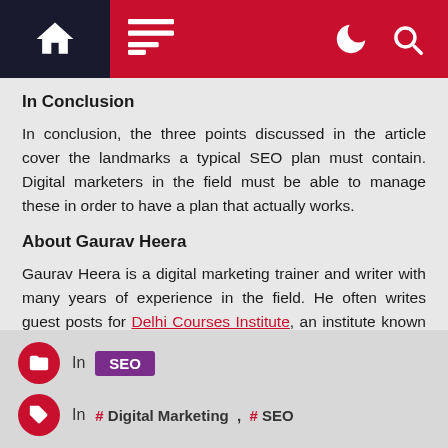Navigation bar with home, menu, dark mode and search icons
In Conclusion
In conclusion, the three points discussed in the article cover the landmarks a typical SEO plan must contain. Digital marketers in the field must be able to manage these in order to have a plan that actually works.
About Gaurav Heera
Gaurav Heera is a digital marketing trainer and writer with many years of experience in the field. He often writes guest posts for Delhi Courses Institute, an institute known for its cheapest digital marketing training in Delhi.
In SEO | In # Digital Marketing , # SEO